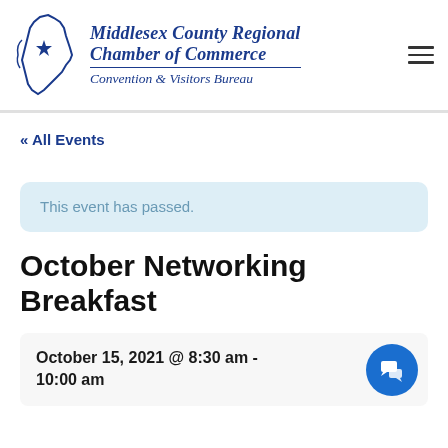[Figure (logo): Middlesex County Regional Chamber of Commerce Convention & Visitors Bureau logo with NJ state outline and star]
« All Events
This event has passed.
October Networking Breakfast
October 15, 2021 @ 8:30 am - 10:00 am